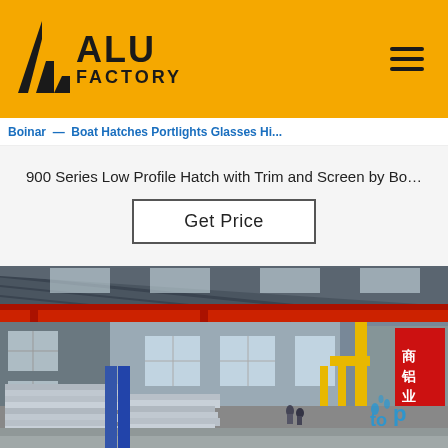ALU FACTORY
Boinar — Boat Hatches Portlights Glasses Hi...
900 Series Low Profile Hatch with Trim and Screen by Bo…
Get Price
[Figure (photo): Interior of a large industrial aluminum factory warehouse with overhead red crane beams, stacked aluminum sheets on the floor, large windows along the walls, and workers visible in the background. A 'top' watermark is visible in the lower right.]